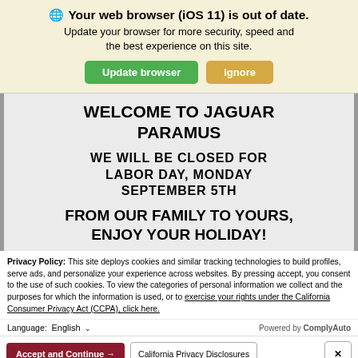🌐 Your web browser (iOS 11) is out of date. Update your browser for more security, speed and the best experience on this site.
Update browser | Ignore
WELCOME TO JAGUAR PARAMUS
WE WILL BE CLOSED FOR LABOR DAY, MONDAY SEPTEMBER 5TH
FROM OUR FAMILY TO YOURS, ENJOY YOUR HOLIDAY!
Privacy Policy: This site deploys cookies and similar tracking technologies to build profiles, serve ads, and personalize your experience across websites. By pressing accept, you consent to the use of such cookies. To view the categories of personal information we collect and the purposes for which the information is used, or to exercise your rights under the California Consumer Privacy Act (CCPA), click here.
Language: English  ∨   Powered by ComplyAuto
Accept and Continue →  |  California Privacy Disclosures  |  ×